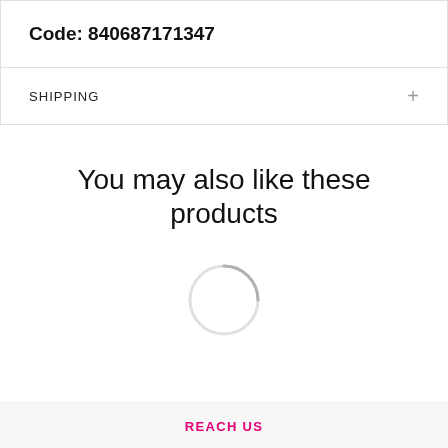Code: 840687171347
SHIPPING +
You may also like these products
[Figure (other): Loading spinner / circular progress indicator, partially filled arc in light gray]
REACH US